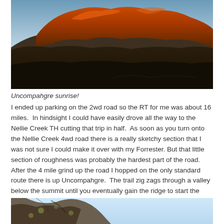[Figure (photo): Sunrise photo of Uncompahgre Peak with rocky red/orange illuminated cliffs against dark foreground hills and a pale sky.]
Uncompahgre sunrise!
I ended up parking on the 2wd road so the RT for me was about 16 miles.  In hindsight I could have easily drove all the way to the Nellie Creek TH cutting that trip in half.  As soon as you turn onto the Nellie Creek 4wd road there is a really sketchy section that I was not sure I could make it over with my Forrester. But that little section of roughness was probably the hardest part of the road.  After the 4 mile grind up the road I hopped on the only standard route there is up Uncompahgre.  The trail zig zags through a valley below the summit until you eventually gain the ridge to start the final push to the summit.  You get a tiny bit of class 3 scrambling along the back side of Uncompahgre which was a nice change from the beaten path.
[Figure (photo): Partial view of rocky cliff face with lichen and light blue sky in the background, cropped at bottom of page.]